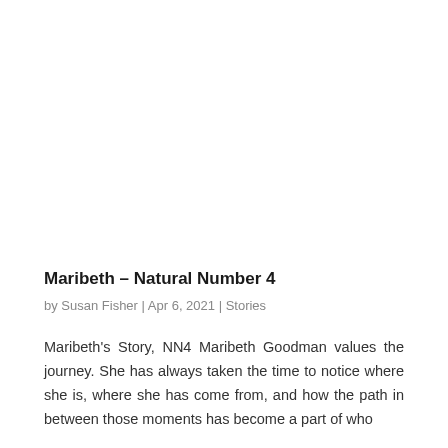Maribeth – Natural Number 4
by Susan Fisher | Apr 6, 2021 | Stories
Maribeth's Story, NN4 Maribeth Goodman values the journey. She has always taken the time to notice where she is, where she has come from, and how the path in between those moments has become a part of who